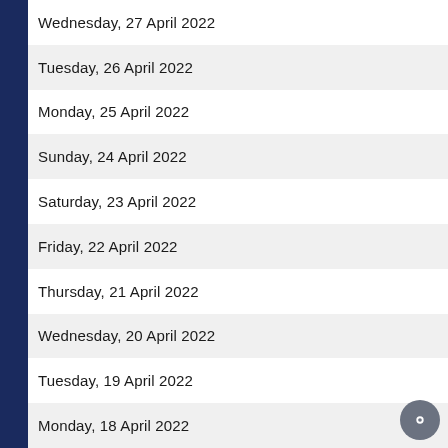Wednesday, 27 April 2022
Tuesday, 26 April 2022
Monday, 25 April 2022
Sunday, 24 April 2022
Saturday, 23 April 2022
Friday, 22 April 2022
Thursday, 21 April 2022
Wednesday, 20 April 2022
Tuesday, 19 April 2022
Monday, 18 April 2022